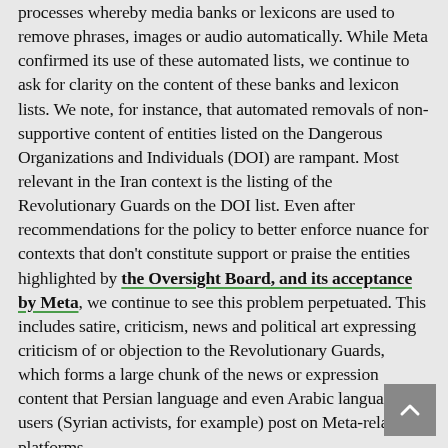processes whereby media banks or lexicons are used to remove phrases, images or audio automatically. While Meta confirmed its use of these automated lists, we continue to ask for clarity on the content of these banks and lexicon lists. We note, for instance, that automated removals of non-supportive content of entities listed on the Dangerous Organizations and Individuals (DOI) are rampant. Most relevant in the Iran context is the listing of the Revolutionary Guards on the DOI list. Even after recommendations for the policy to better enforce nuance for contexts that don't constitute support or praise the entities highlighted by the Oversight Board, and its acceptance by Meta, we continue to see this problem perpetuated. This includes satire, criticism, news and political art expressing criticism of or objection to the Revolutionary Guards, which forms a large chunk of the news or expression content that Persian language and even Arabic language users (Syrian activists, for example) post on Meta-related platforms.